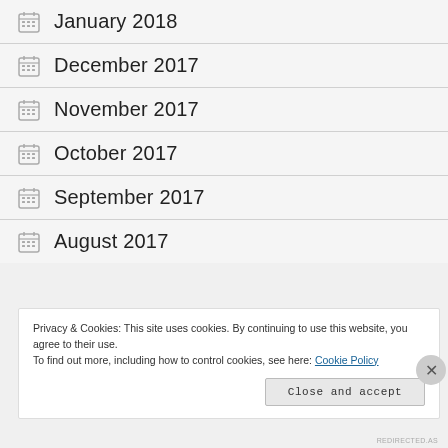January 2018
December 2017
November 2017
October 2017
September 2017
August 2017
Privacy & Cookies: This site uses cookies. By continuing to use this website, you agree to their use.
To find out more, including how to control cookies, see here: Cookie Policy
[Close and accept]